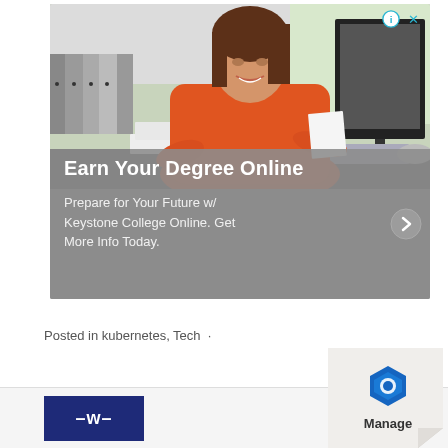[Figure (photo): Advertisement banner showing a woman in an orange blouse sitting at a desk, looking at papers, with binders and a computer monitor in the background. The lower portion has a gray overlay with text: 'Earn Your Degree Online' and 'Prepare for Your Future w/ Keystone College Online. Get More Info Today.']
Posted in kubernetes, Tech  ·
[Figure (logo): Dark navy blue rectangle with white text showing '-w-' logo]
[Figure (logo): Manage widget with hexagonal blue icon and 'Manage' text, on a page-curl background]